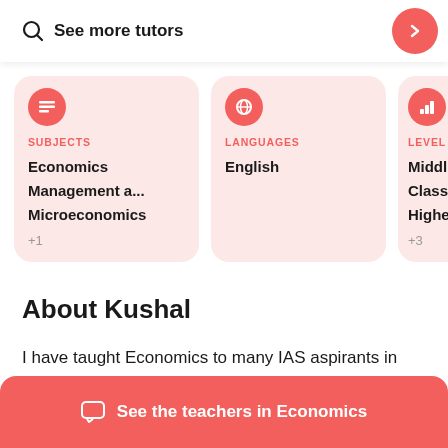See more tutors
[Figure (infographic): Tutor profile card showing SUBJECTS: Economics, Management a..., Microeconomics, +1]
[Figure (infographic): Tutor profile card showing LANGUAGES: English]
[Figure (infographic): Tutor profile card showing LEVELS: Middl..., Class..., Highe..., +3]
About Kushal
I have taught Economics to many IAS aspirants in Delhi for the past 3 years. Having moved to N...
See the teachers in Economics